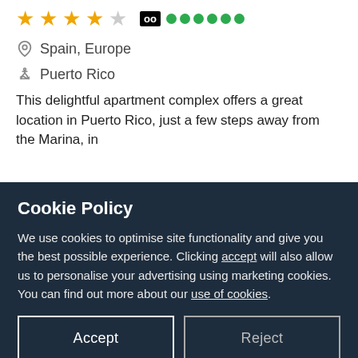[Figure (other): Star rating: 4 orange filled stars and 1 grey empty star, followed by a score badge showing 'oo' in black box and 6 green dots]
Spain, Europe
Puerto Rico
This delightful apartment complex offers a great location in Puerto Rico, just a few steps away from the Marina, in
Cookie Policy
We use cookies to optimise site functionality and give you the best possible experience. Clicking accept will also allow us to personalise your advertising using marketing cookies. You can find out more about our use of cookies.
Accept
Reject